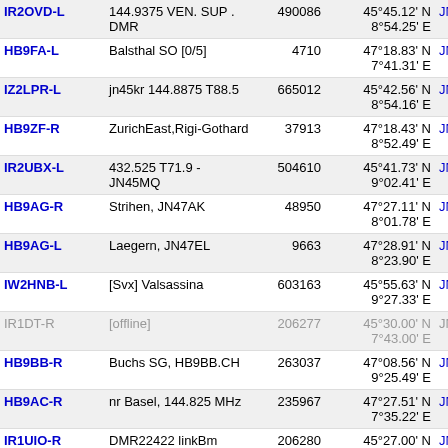| Callsign | Description | Count | Coordinates | Locator | Dist |
| --- | --- | --- | --- | --- | --- |
| IR2OVD-L | 144.9375 VEN. SUP . DMR | 490086 | 45°45.12' N 8°54.25' E | JN45ks | 60.4 |
| HB9FA-L | Balsthal SO [0/5] | 4710 | 47°18.83' N 7°41.31' E | JN37uh | 62.7 |
| IZ2LPR-L | jn45kr 144.8875 T88.5 | 665012 | 45°42.56' N 8°54.16' E | JN45kr | 62.8 |
| HB9ZF-R | ZurichEast,Rigi-Gothard | 37913 | 47°18.43' N 8°52.49' E | JN47kh | 65.4 |
| IR2UBX-L | 432.525 T71.9 - JN45MQ | 504610 | 45°41.73' N 9°02.41' E | JN45mq | 67.3 |
| HB9AG-R | Strihen, JN47AK | 48950 | 47°27.11' N 8°01.78' E | JN47ak | 67.8 |
| HB9AG-L | Laegern, JN47EL | 9663 | 47°28.91' N 8°23.90' E | JN47el | 69.9 |
| IW2HNB-L | [Svx] Valsassina | 603163 | 45°55.63' N 9°27.33' E | JN45rw | 70.9 |
| IR1DT-R | [offline] | 206277 | 45°30.00' N 7°43.00' E | JN35um | 71.7 |
| HB9BB-R | Buchs SG, HB9BB.CH | 263037 | 47°08.56' N 9°25.49' E | JN47rd | 73.6 |
| HB9AC-R | nr Basel, 144.825 MHz | 235967 | 47°27.51' N 7°35.22' E | JN37tl | 73.8 |
| IR1UIO-R | DMR22422 linkBm IR1DT C4fm | 206280 | 45°27.00' N 7°44.00' E | JN35uk | 74.8 |
| DB0SAC-L | Eggberg,JN37XN | 264148 | 47°34.94' N 7°57.62' E | JN37xn | 77.2 |
| HB9UHF-L | Muttenz, BL, 438.675 | 438675 | 47°32.03' N | JN37tm | 77.7 |